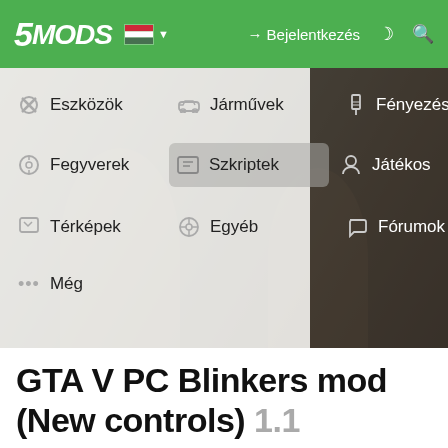5MODS — Bejelentkezés
[Figure (screenshot): Screenshot of 5mods.hu website navigation menu open showing categories: Eszközök, Járművek, Fényezések, Fegyverek, Szkriptek (highlighted), Játékos, Térképek, Egyéb, Fórumok, Még. Background shows blurred GTA V scene.]
GTA V PC Blinkers mod (New controls) 1.1